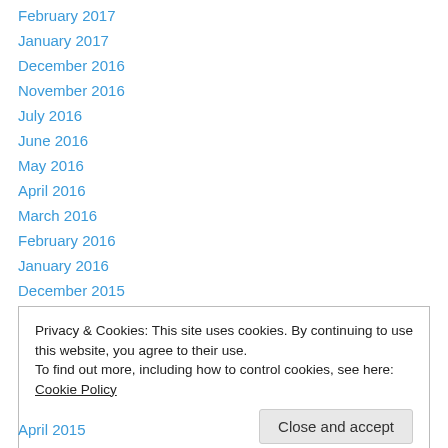February 2017
January 2017
December 2016
November 2016
July 2016
June 2016
May 2016
April 2016
March 2016
February 2016
January 2016
December 2015
November 2015
Privacy & Cookies: This site uses cookies. By continuing to use this website, you agree to their use. To find out more, including how to control cookies, see here: Cookie Policy
April 2015